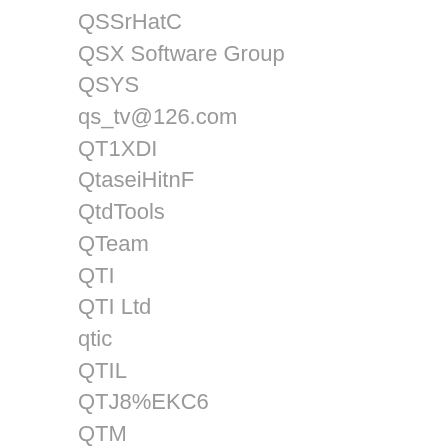QSSrHatC
QSX Software Group
QSYS
qs_tv@126.com
QT1XDI
QtaseiHitnF
QtdTools
QTeam
QTI
QTI Ltd
qtic
QTIL
QTJ8%EKC6
QTM
Qton Software
QTP-R and Co.P.